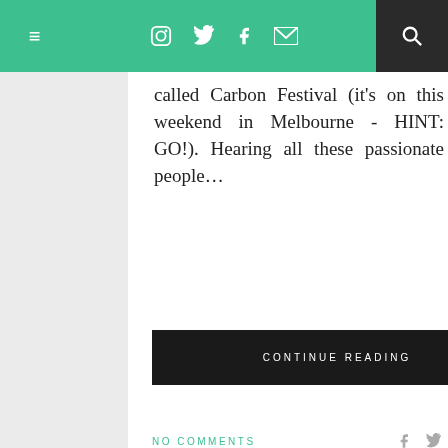≡  [Instagram] [Twitter] [Facebook] [Mail]  [Search]
called Carbon Festival (it's on this weekend in Melbourne - HINT: GO!). Hearing all these passionate people…
CONTINUE READING
NO COMMENTS
UPGRADE U
UPGRADE U: NIVEA